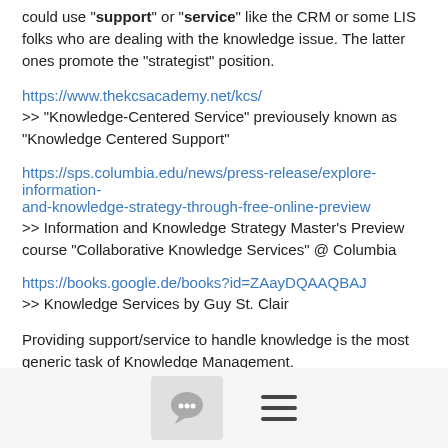could use "support" or "service" like the CRM or some LIS folks who are dealing with the knowledge issue. The latter ones promote the "strategist" position.
https://www.thekcsacademy.net/kcs/
>> "Knowledge-Centered Service" previousely known as "Knowledge Centered Support"
https://sps.columbia.edu/news/press-release/explore-information-and-knowledge-strategy-through-free-online-preview
>> Information and Knowledge Strategy Master's Preview course "Collaborative Knowledge Services" @ Columbia
https://books.google.de/books?id=ZAayDQAAQBAJ
>> Knowledge Services by Guy St. Clair
Providing support/service to handle knowledge is the most generic task of Knowledge Management.